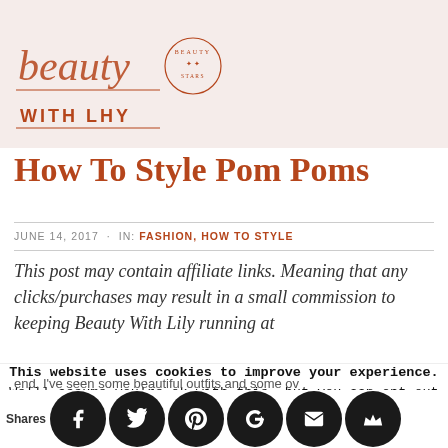[Figure (logo): Beauty With Lily blog logo - cursive script with circular badge]
How To Style Pom Poms
JUNE 14, 2017 · IN: FASHION, HOW TO STYLE
This post may contain affiliate links. Meaning that any clicks/purchases may result in a small commission to keeping Beauty With Lily running at
This website uses cookies to improve your experience. We'll assume you're ok with this, but you can opt-out if you wish. Accept & Close  Read More
Shares